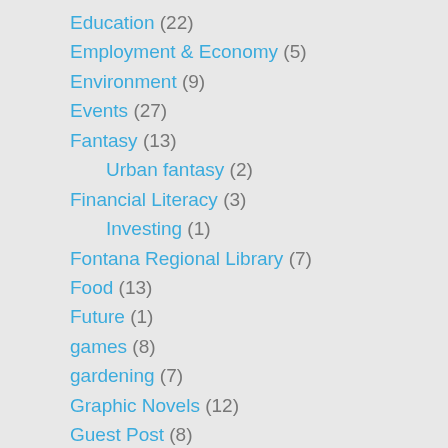Education (22)
Employment & Economy (5)
Environment (9)
Events (27)
Fantasy (13)
Urban fantasy (2)
Financial Literacy (3)
Investing (1)
Fontana Regional Library (7)
Food (13)
Future (1)
games (8)
gardening (7)
Graphic Novels (12)
Guest Post (8)
Ann Miller Woodford (1)
Halloween (8)
Healthcare (11)
Highlands, NC (2)
hiking (4)